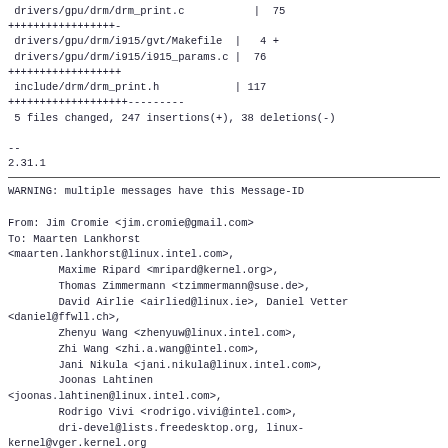drivers/gpu/drm/drm_print.c           |  75
+++++++++++++++++-
 drivers/gpu/drm/i915/gvt/Makefile  |   4 +
 drivers/gpu/drm/i915/i915_params.c |  76
++++++++++++++++++
 include/drm/drm_print.h            | 117
+++++++++++++++++++---------
 5 files changed, 247 insertions(+), 38 deletions(-)

--
2.31.1
WARNING: multiple messages have this Message-ID

From: Jim Cromie <jim.cromie@gmail.com>
To: Maarten Lankhorst
<maarten.lankhorst@linux.intel.com>,
        Maxime Ripard <mripard@kernel.org>,
        Thomas Zimmermann <tzimmermann@suse.de>,
        David Airlie <airlied@linux.ie>, Daniel Vetter
<daniel@ffwll.ch>,
        Zhenyu Wang <zhenyuw@linux.intel.com>,
        Zhi Wang <zhi.a.wang@intel.com>,
        Jani Nikula <jani.nikula@linux.intel.com>,
        Joonas Lahtinen
<joonas.lahtinen@linux.intel.com>,
        Rodrigo Vivi <rodrigo.vivi@intel.com>,
        dri-devel@lists.freedesktop.org, linux-
kernel@vger.kernel.org